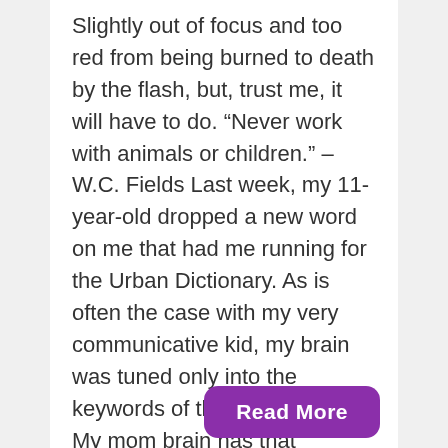Slightly out of focus and too red from being burned to death by the flash, but, trust me, it will have to do. "Never work with animals or children." – W.C. Fields Last week, my 11-year-old dropped a new word on me that had me running for the Urban Dictionary. As is often the case with my very communicative kid, my brain was tuned only into the keywords of the conversation. My mom brain has that scanner thing you know...
Read More